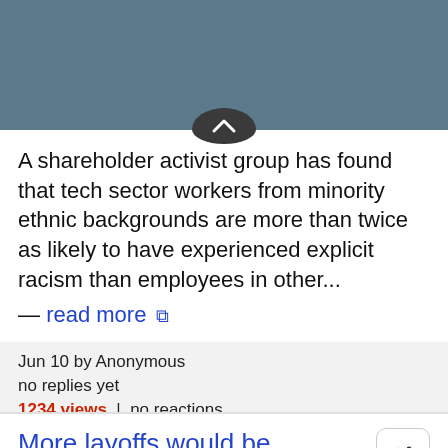A shareholder activist group has found that tech sector workers from minority ethnic backgrounds are more than twice as likely to have experienced explicit racism than employees in other... — read more
Jun 10 by Anonymous
no replies yet
1234 views | no reactions
Post ID: @OP+1hawIb0s
More layoffs would be amazing
I'd rather leave with severance than quit with nothing to show for it.